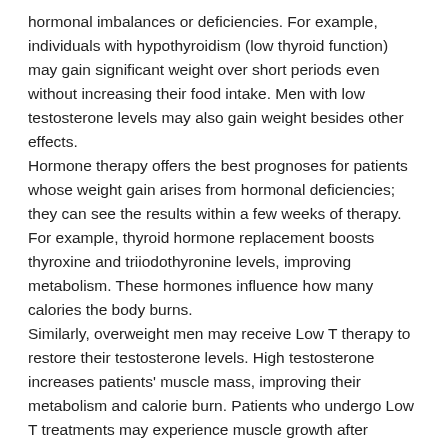hormonal imbalances or deficiencies. For example, individuals with hypothyroidism (low thyroid function) may gain significant weight over short periods even without increasing their food intake. Men with low testosterone levels may also gain weight besides other effects.
Hormone therapy offers the best prognoses for patients whose weight gain arises from hormonal deficiencies; they can see the results within a few weeks of therapy. For example, thyroid hormone replacement boosts thyroxine and triiodothyronine levels, improving metabolism. These hormones influence how many calories the body burns.
Similarly, overweight men may receive Low T therapy to restore their testosterone levels. High testosterone increases patients' muscle mass, improving their metabolism and calorie burn. Patients who undergo Low T treatments may experience muscle growth after